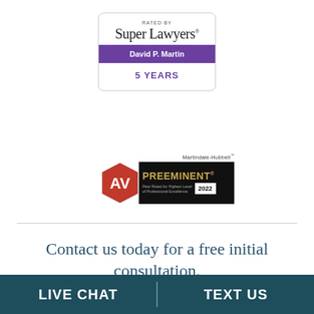[Figure (logo): Super Lawyers rated badge showing David P. Martin, 5 Years, with purple ribbon]
[Figure (logo): Martindale-Hubbell AV Preeminent badge, Peer Rated for Highest Level of Professional Excellence, 2022]
Contact us today for a free initial consultation.
The Martin Law Group is dedicated
LIVE CHAT  |  TEXT US